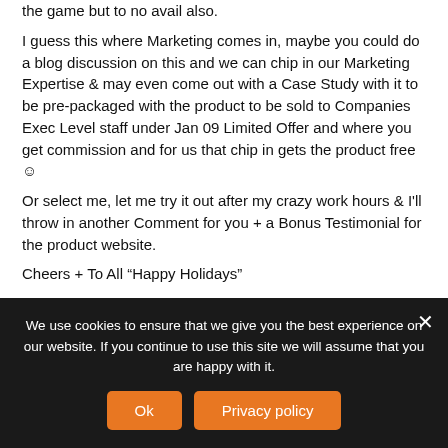the game but to no avail also.
I guess this where Marketing comes in, maybe you could do a blog discussion on this and we can chip in our Marketing Expertise & may even come out with a Case Study with it to be pre-packaged with the product to be sold to Companies Exec Level staff under Jan 09 Limited Offer and where you get commission and for us that chip in gets the product free ☺
Or select me, let me try it out after my crazy work hours & I'll throw in another Comment for you + a Bonus Testimonial for the product website.
Cheers + To All “Happy Holidays”
Reply
Nikki Scanlen says:
We use cookies to ensure that we give you the best experience on our website. If you continue to use this site we will assume that you are happy with it.